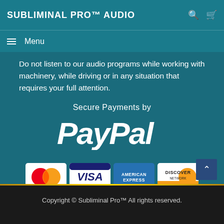SUBLIMINAL PRO™ AUDIO
Do not listen to our audio programs while working with machinery, while driving or in any situation that requires your full attention.
[Figure (logo): Secure Payments by PayPal logo with PayPal wordmark in white italic letters on teal background]
[Figure (logo): Payment method logos: MasterCard, Visa, American Express, Discover]
Copyright © Subliminal Pro™ All rights reserved.